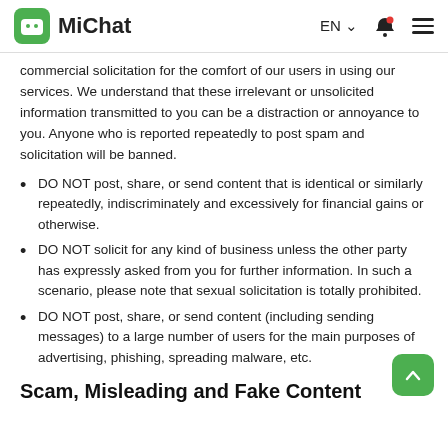MiChat — EN
commercial solicitation for the comfort of our users in using our services. We understand that these irrelevant or unsolicited information transmitted to you can be a distraction or annoyance to you. Anyone who is reported repeatedly to post spam and solicitation will be banned.
DO NOT post, share, or send content that is identical or similarly repeatedly, indiscriminately and excessively for financial gains or otherwise.
DO NOT solicit for any kind of business unless the other party has expressly asked from you for further information. In such a scenario, please note that sexual solicitation is totally prohibited.
DO NOT post, share, or send content (including sending messages) to a large number of users for the main purposes of advertising, phishing, spreading malware, etc.
Scam, Misleading and Fake Content